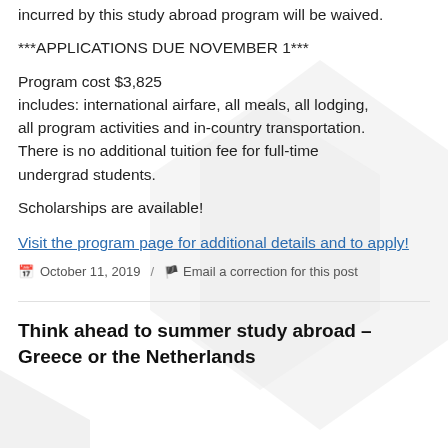incurred by this study abroad program will be waived.
***APPLICATIONS DUE NOVEMBER 1***
Program cost $3,825
includes: international airfare, all meals, all lodging, all program activities and in-country transportation. There is no additional tuition fee for full-time undergrad students.
Scholarships are available!
Visit the program page for additional details and to apply!
October 11, 2019 / Email a correction for this post
Think ahead to summer study abroad – Greece or the Netherlands